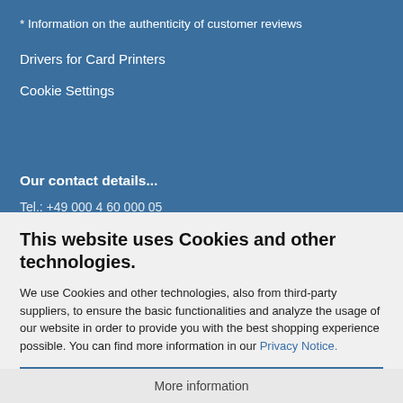* Information on the authenticity of customer reviews
Drivers for Card Printers
Cookie Settings
Our contact details...
Tel.: +49 000 4 60 000 05
This website uses Cookies and other technologies.
We use Cookies and other technologies, also from third-party suppliers, to ensure the basic functionalities and analyze the usage of our website in order to provide you with the best shopping experience possible. You can find more information in our Privacy Notice.
Accept all
More information